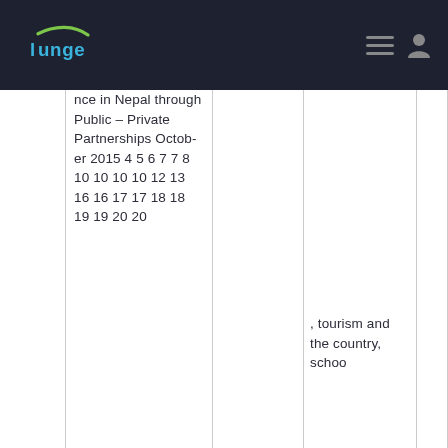Lunge - navigation header
...nce in Nepal through Public – Private Partnerships October 2015 4 5 6 7 7 8 10 10 10 10 12 13 16 16 17 17 18 18 19 19 20 20
, tourism and the country, schoo...